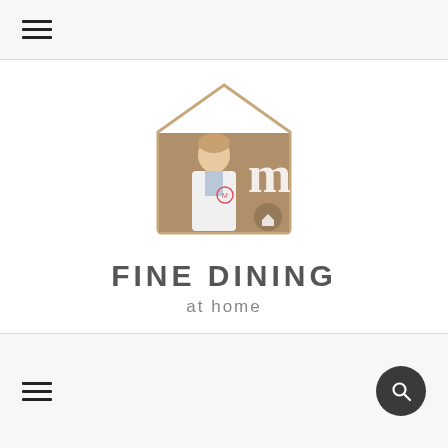☰ (hamburger menu icon)
[Figure (logo): House-shaped logo containing a photo of a man in a white apron (MasterChef contestant) with the MasterChef 'm' logo behind him, styled inside a house silhouette outline]
FINE DINING
at home
☰ (hamburger menu icon) and search (magnifying glass) button